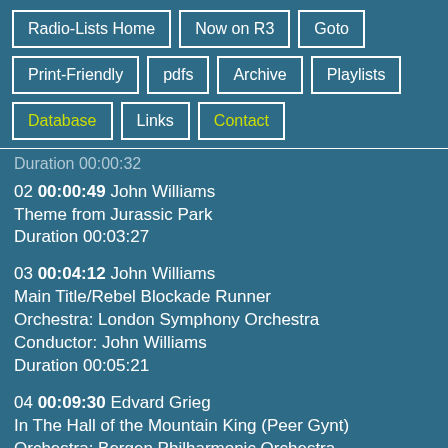Radio-Lists Home
Now on R3
Goto
Print-Friendly
pdfs
Archive
Playlists
Database
Links
Contact
Duration 00:00:32
02 00:00:49 John Williams
Theme from Jurassic Park
Duration 00:03:27
03 00:04:12 John Williams
Main Title/Rebel Blockade Runner
Orchestra: London Symphony Orchestra
Conductor: John Williams
Duration 00:05:21
04 00:09:30 Edvard Grieg
In The Hall of the Mountain King (Peer Gynt)
Orchestra: Bergen Philharmonic Orchestra
Conductor: Edward Gardner